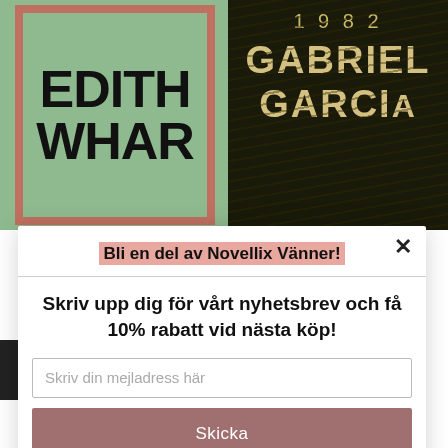[Figure (photo): Book cover for Edith Wharton on mint green background with terracotta border, showing 'EDITH WHAR...' text in bold black letters]
[Figure (photo): Book cover for Gabriel García (1982) on dark black background with gold wavy stripes, showing '1982 GABRIEL GARCI...' in gold/cream letters]
Bli en del av Novellix Vänner!
Skriv upp dig för vårt nyhetsbrev och få 10% rabatt vid nästa köp!
Skriv din mejladress här
Skicka
powered by MailMunch